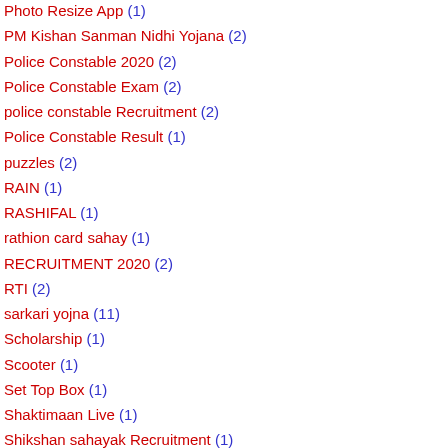Photo Resize App (1)
PM Kishan Sanman Nidhi Yojana (2)
Police Constable 2020 (2)
Police Constable Exam (2)
police constable Recruitment (2)
Police Constable Result (1)
puzzles (2)
RAIN (1)
RASHIFAL (1)
rathion card sahay (1)
RECRUITMENT 2020 (2)
RTI (2)
sarkari yojna (11)
Scholarship (1)
Scooter (1)
Set Top Box (1)
Shaktimaan Live (1)
Shikshan sahayak Recruitment (1)
SMC (1)